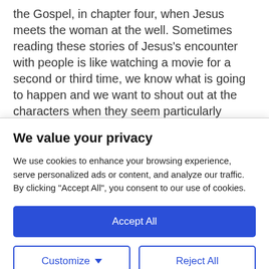the Gospel, in chapter four, when Jesus meets the woman at the well. Sometimes reading these stories of Jesus's encounter with people is like watching a movie for a second or third time, we know what is going to happen and we want to shout out at the characters when they seem particularly clueless.
When Jesus tells her that he will give her living
We value your privacy
We use cookies to enhance your browsing experience, serve personalized ads or content, and analyze our traffic. By clicking "Accept All", you consent to our use of cookies.
Accept All
Customize
Reject All